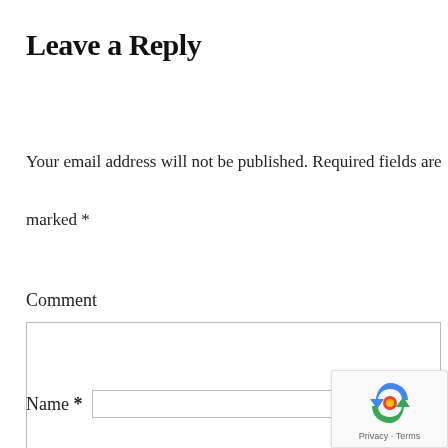Leave a Reply
Your email address will not be published. Required fields are marked *
Comment
Name *